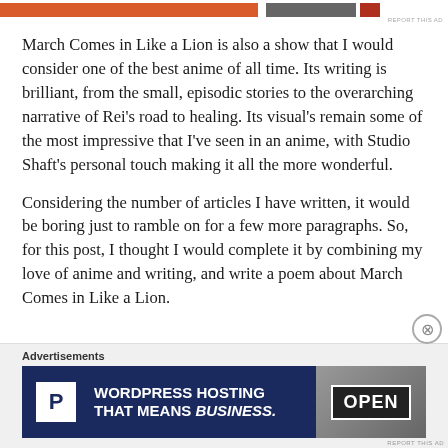[Figure (other): Top ad banner with orange, dark gray, and red colored bars, with 'REPORT THIS AD' text in small gray font at bottom right]
March Comes in Like a Lion is also a show that I would consider one of the best anime of all time. Its writing is brilliant, from the small, episodic stories to the overarching narrative of Rei's road to healing. Its visual's remain some of the most impressive that I've seen in an anime, with Studio Shaft's personal touch making it all the more wonderful.
Considering the number of articles I have written, it would be boring just to ramble on for a few more paragraphs. So, for this post, I thought I would complete it by combining my love of anime and writing, and write a poem about March Comes in Like a Lion.
[Figure (other): Advertisement section at bottom with 'Advertisements' label and WordPress Hosting ad banner showing 'WORDPRESS HOSTING THAT MEANS BUSINESS.' with parking logo P and an OPEN sign photo]